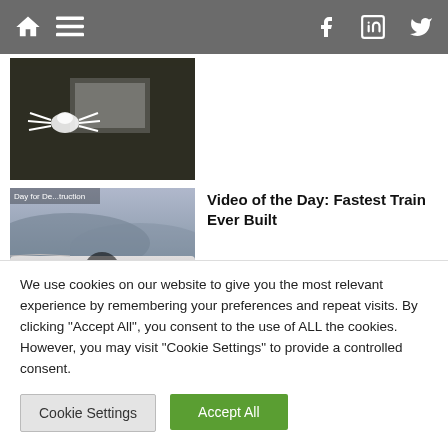Navigation bar with home, menu, facebook, linkedin, twitter icons
[Figure (screenshot): Thumbnail image partially visible, appears to be an animation or illustration of an insect/spider on a computer screen]
[Figure (screenshot): Video thumbnail of a fast train in motion with play button, labeled 'Day for Destruction']
Video of the Day: Fastest Train Ever Built
We use cookies on our website to give you the most relevant experience by remembering your preferences and repeat visits. By clicking "Accept All", you consent to the use of ALL the cookies. However, you may visit "Cookie Settings" to provide a controlled consent.
Cookie Settings | Accept All